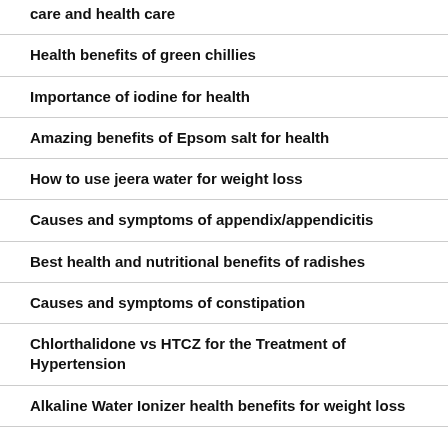care and health care
Health benefits of green chillies
Importance of iodine for health
Amazing benefits of Epsom salt for health
How to use jeera water for weight loss
Causes and symptoms of appendix/appendicitis
Best health and nutritional benefits of radishes
Causes and symptoms of constipation
Chlorthalidone vs HTCZ for the Treatment of Hypertension
Alkaline Water Ionizer health benefits for weight loss